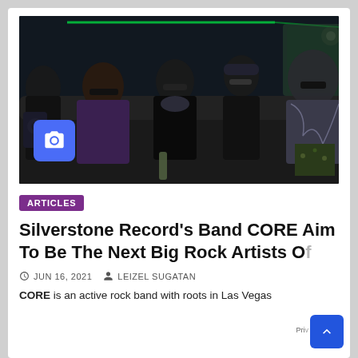[Figure (photo): Four rock band members (CORE) sitting inside a limo/limousine interior with dark leather seats, green accent lights visible, all wearing sunglasses and stylish rock outfits. A blue camera icon overlay appears at the bottom left of the photo.]
ARTICLES
Silverstone Record's Band CORE Aim To Be The Next Big Rock Artists Of
JUN 16, 2021   LEIZEL SUGATAN
CORE is an active rock band with roots in Las Vegas